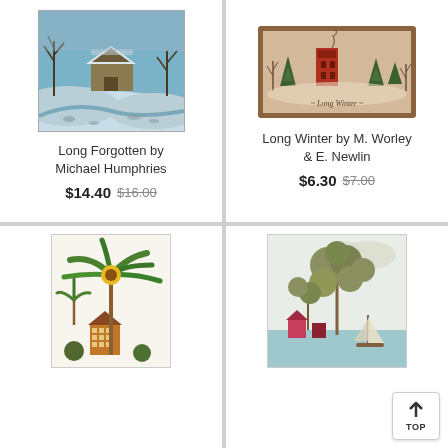[Figure (photo): Winter scene painting: snow-covered barn with bare trees and a creek, blue-toned]
Long Forgotten by Michael Humphries
$14.40 $16.00
[Figure (photo): Embroidery/cross-stitch art in a brown frame showing a red house, trees, and 'Long Winter' text on beige fabric]
Long Winter by M. Worley & E. Newlin
$6.30 $7.00
[Figure (photo): Cross-stitch needlework of palm trees with a sunflower and a house below, on white fabric]
[Figure (photo): Needlework/embroidery art depicting round green trees, a sailboat, and colorful houses near water]